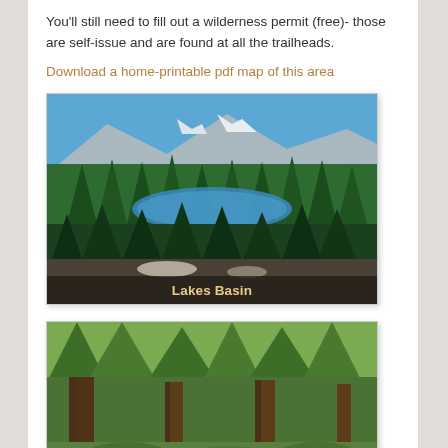You'll still need to fill out a wilderness permit (free)- those are self-issue and are found at all the trailheads.
Download a home-printable pdf map of this area
[Figure (photo): Aerial view of forested mountain Lakes Basin with a blue lake visible among dense evergreen trees and rocky terrain, with mountains in background. Caption reads 'Lakes Basin'.]
[Figure (photo): Forest scene showing large tree trunks and green undergrowth at a trailhead. Caption reads 'Trailhead Enterance'.]
[Figure (photo): Partially visible photo at bottom of page showing rocky or wooded terrain.]